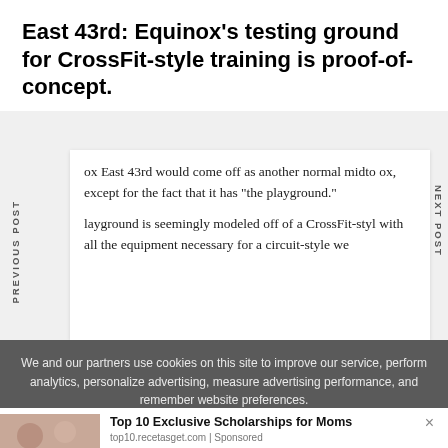East 43rd: Equinox's testing ground for CrossFit-style training is proof-of-concept.
ox East 43rd would come off as another normal midto ox, except for the fact that it has "the playground."
layground is seemingly modeled off of a CrossFit-styl with all the equipment necessary for a circuit-style we
We and our partners use cookies on this site to improve our service, perform analytics, personalize advertising, measure advertising performance, and remember website preferences.
Top 10 Exclusive Scholarships for Moms
top10.recetasget.com | Sponsored